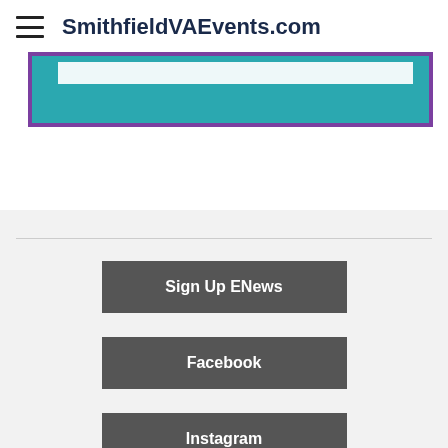SmithfieldVAEvents.com
[Figure (screenshot): Teal/turquoise banner block with purple border and white bar near top]
Sign Up ENews
Facebook
Instagram